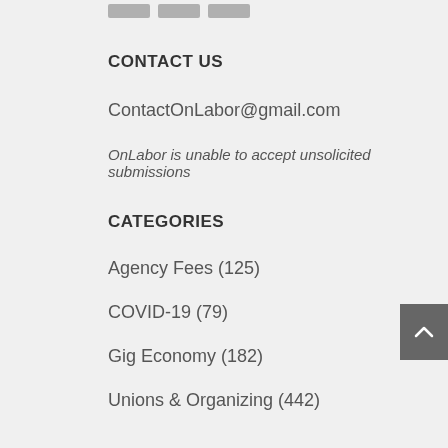CONTACT US
ContactOnLabor@gmail.com
OnLabor is unable to accept unsolicited submissions
CATEGORIES
Agency Fees (125)
COVID-19 (79)
Gig Economy (182)
Unions & Organizing (442)
Wage & Hour (116)
Workplace Discrimination (118)